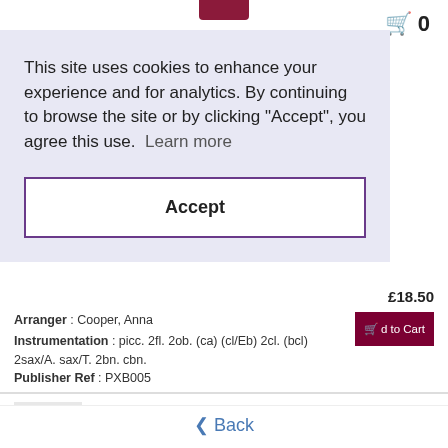[Figure (screenshot): Website top bar with shopping cart icon and count showing 0]
This site uses cookies to enhance your experience and for analytics. By continuing to browse the site or by clicking "Accept", you agree this use.  Learn more
Accept
Arranger : Cooper, Anna
Instrumentation : picc. 2fl. 2ob. (ca) (cl/Eb) 2cl. (bcl) 2sax/A. sax/T. 2bn. cbn.
Publisher Ref : PXB005
VARIATIONS ON A THEME OF HAYDN
Composer : Brahms, Johannes (1833-1897)
Arranger : Emerson, Geoffrey
£18.50
£32.50
Back